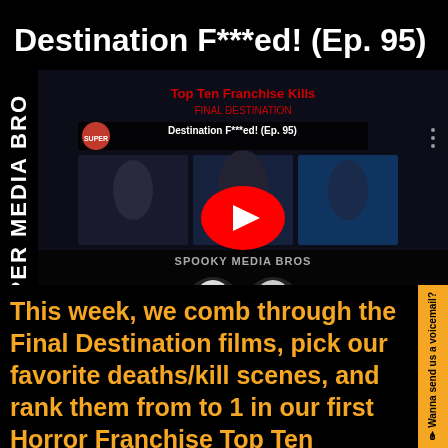Destination F***ed! (Ep. 95)
[Figure (screenshot): YouTube video thumbnail for 'Destination F***ed! (Ep. 95)' showing horror movie collage with Final Destination imagery, skulls logo for Spooky Media Bros Podcast, red play button overlay, and Super Media Bro logo in top left.]
This week, we comb through the Final Destination films, pick our favorite deaths/kill scenes, and rank them from to 1 in our first Horror Franchise Top Ten